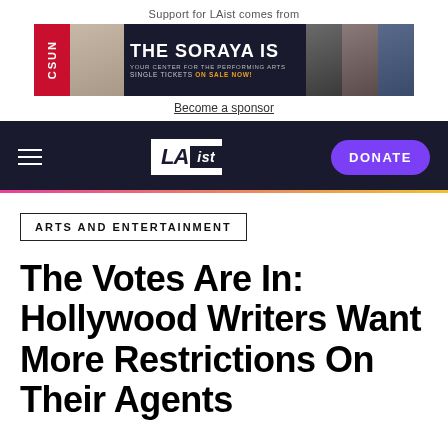Support for LAist comes from
[Figure (other): Advertisement banner for The Soraya – Your Center for the Performing Arts, CSUN. Single tickets on sale now. Shows various performer portraits.]
Become a sponsor
LAist — DONATE
ARTS AND ENTERTAINMENT
The Votes Are In: Hollywood Writers Want More Restrictions On Their Agents